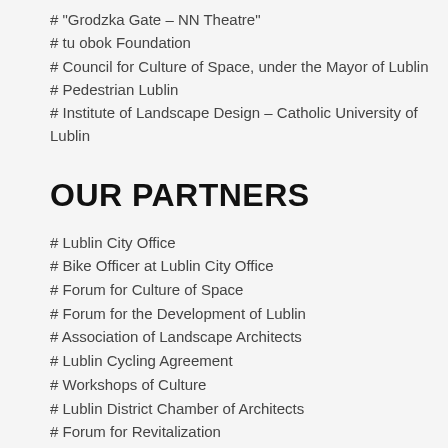# "Grodzka Gate – NN Theatre"
# tu obok Foundation
# Council for Culture of Space, under the Mayor of Lublin
# Pedestrian Lublin
# Institute of Landscape Design – Catholic University of Lublin
Our Partners
# Lublin City Office
# Bike Officer at Lublin City Office
# Forum for Culture of Space
# Forum for the Development of Lublin
# Association of Landscape Architects
# Lublin Cycling Agreement
# Workshops of Culture
# Lublin District Chamber of Architects
# Forum for Revitalization
# 'Skarpa' Community Centre
# Association of Polish Architects, Lublin branch
# Association of Polish Urbanists, Lublin branch
# "Zacheta" Lublin Society for Encouragment of the Fine Arts